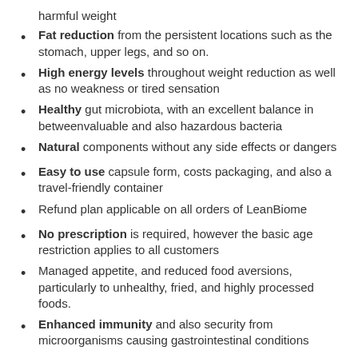harmful weight
Fat reduction from the persistent locations such as the stomach, upper legs, and so on.
High energy levels throughout weight reduction as well as no weakness or tired sensation
Healthy gut microbiota, with an excellent balance in betweenvaluable and also hazardous bacteria
Natural components without any side effects or dangers
Easy to use capsule form, costs packaging, and also a travel-friendly container
Refund plan applicable on all orders of LeanBiome
No prescription is required, however the basic age restriction applies to all customers
Managed appetite, and reduced food aversions, particularly to unhealthy, fried, and highly processed foods.
Enhanced immunity and also security from microorganisms causing gastrointestinal conditions